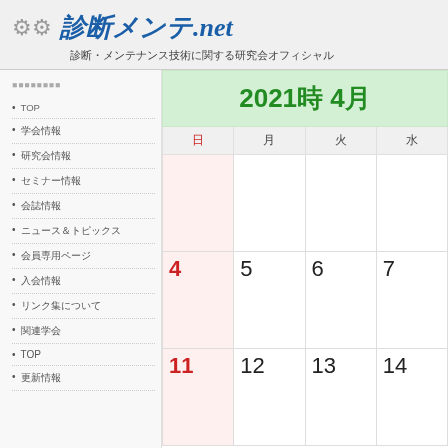診断メンテ.net — 診断・メンテナンス技術に関する研究会オフィシャル
メニュー
TOP
学会情報
研究会情報
セミナー情報
会誌情報
ニュース＆トピックス
会員専用ページ
入会情報
リンク集について
関連学会
TOP
更新情報
| 日 | 月 | 火 | 水 |
| --- | --- | --- | --- |
|  |  |  |  |
| 4 | 5 | 6 | 7 |
| 11 | 12 | 13 | 14 |